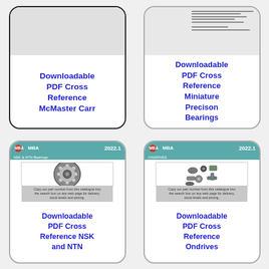[Figure (illustration): Card with gray top area and white box below containing text. Downloadable PDF Cross Reference McMaster Carr]
Downloadable PDF Cross Reference McMaster Carr
[Figure (illustration): Card with document/lines image at top. Downloadable PDF Cross Reference Miniature Precison Bearings]
Downloadable PDF Cross Reference Miniature Precison Bearings
[Figure (illustration): MBA 2022.1 NSK & NTN Bearings catalog card with ball bearing image. Downloadable PDF Cross Reference NSK and NTN]
Downloadable PDF Cross Reference NSK and NTN
[Figure (illustration): MBA 2022.1 Ondrives catalog card with various mechanical parts image. Downloadable PDF Cross Reference Ondrives]
Downloadable PDF Cross Reference Ondrives